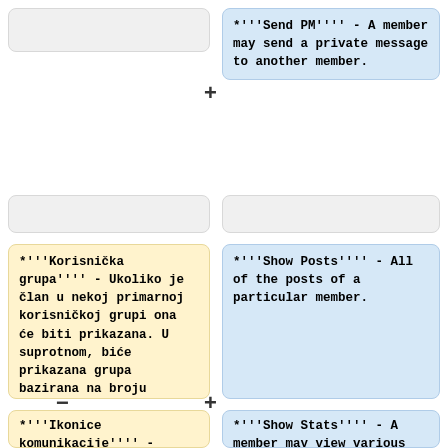*'''Send PM''' - A member may send a private message to another member.
*'''Korisnička grupa''' - Ukoliko je član u nekoj primarnoj korisničkoj grupi ona će biti prikazana. U suprotnom, biće prikazana grupa bazirana na broju poruka.
*'''Show Posts''' - All of the posts of a particular member.
*'''Ikonice komunikacije''' - Ukoliko član pruža
*'''Show Stats''' - A member may view various stats